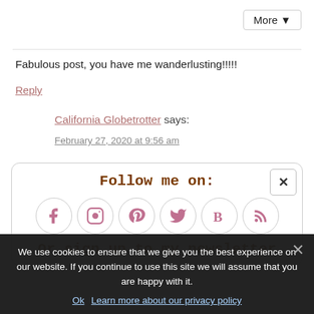More ▾
Fabulous post, you have me wanderlusting!!!!!
Reply
California Globetrotter says:
February 27, 2020 at 9:56 am
[Figure (infographic): Follow me on: social media icons popup with Facebook, Instagram, Pinterest, Twitter, Bloglovin, RSS feed icons in pink circles, followed by 'Or sign up to my newsletter' text in brown handwritten font]
We use cookies to ensure that we give you the best experience on our website. If you continue to use this site we will assume that you are happy with it.
Ok  Learn more about our privacy policy